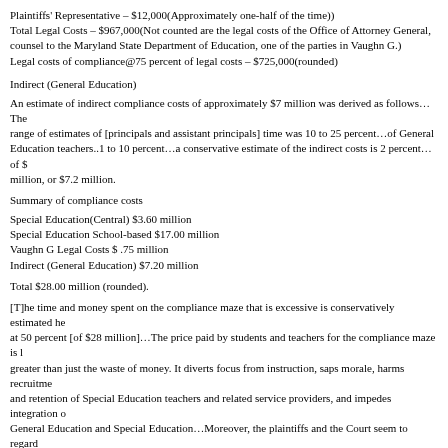Plaintiffs' Representative – $12,000(Approximately one-half of the time))
Total Legal Costs – $967,000(Not counted are the legal costs of the Office of Attorney General, counsel to the Maryland State Department of Education, one of the parties in Vaughn G.)
Legal costs of compliance@75 percent of legal costs – $725,000(rounded)
Indirect (General Education)
An estimate of indirect compliance costs of approximately $7 million was derived as follows…The range of estimates of [principals and assistant principals] time was 10 to 25 percent…of General Education teachers..1 to 10 percent…a conservative estimate of the indirect costs is 2 percent…of $ million, or $7.2 million.
Summary of compliance costs
Special Education(Central) $3.60 million
Special Education School-based $17.00 million
Vaughn G Legal Costs $ .75 million
Indirect (General Education) $7.20 million
Total $28.00 million (rounded).
[T]he time and money spent on the compliance maze that is excessive is conservatively estimated he at 50 percent [of $28 million]…The price paid by students and teachers for the compliance maze is greater than just the waste of money. It diverts focus from instruction, saps morale, harms recruitme and retention of Special Education teachers and related service providers, and impedes integration o General Education and Special Education…Moreover, the plaintiffs and the Court seem to regard compliance as a moving target. For example, several strict and arbitrary outcomes (such as those relating to student discipline) were incorporated in the disengagement decree…the amendments and federal regulations do not impose the kind of numerical standards that are in the decree…The unprecedented sweep of the disengagement decree and the draconian compliance maze stem in part from the Court's ill-disguised intent to punish BCPSS for past acts of incompetence and disobedience of court orders. BCPSS negotiates 'consent' agreements knowing the Court's disposition to come d